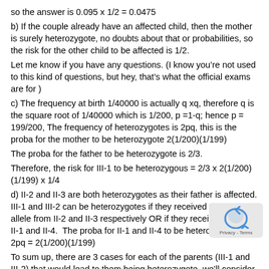so the answer is 0.095 x 1/2 = 0.0475
b) If the couple already have an affected child, then the mother is surely heterozygote, no doubts about that or probabilities, so the risk for the other child to be affected is 1/2.
Let me know if you have any questions. (I know you’re not used to this kind of questions, but hey, that’s what the official exams are for )
c) The frequency at birth 1/40000 is actually q xq, therefore q is the square root of 1/40000 which is 1/200, p =1-q; hence p = 199/200, The frequency of heterozygotes is 2pq, this is the proba for the mother to be heterozygote 2(1/200)(1/199)
The proba for the father to be heterozygote is 2/3.
Therefore, the risk for III-1 to be heterozygous = 2/3 x 2(1/200)(1/199) x 1/4
d) II-2 and II-3 are both heterozygotes as their father is affected. III-1 and III-2 can be heterozygotes if they received the morbid allele from II-2 and II-3 respectively OR if they received it from II-1 and II-4. The proba for II-1 and II-4 to be heterozygotes is 2pq = 2(1/200)(1/199)
To sum up, there are 3 cases for each of the parents (III-1 and III-2) that would lead to them being heterozygote, we’ll consider II case since the calculation is the same for III-2: